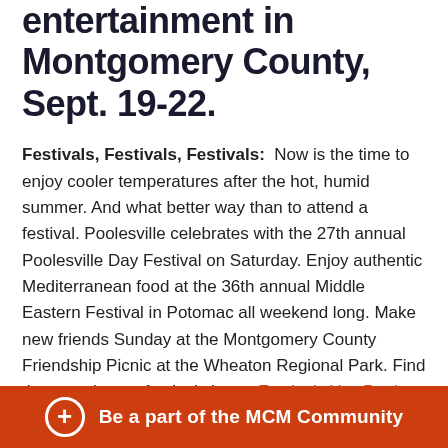entertainment in Montgomery County, Sept. 19-22.
Festivals, Festivals, Festivals: Now is the time to enjoy cooler temperatures after the hot, humid summer. And what better way than to attend a festival. Poolesville celebrates with the 27th annual Poolesville Day Festival on Saturday. Enjoy authentic Mediterranean food at the 36th annual Middle Eastern Festival in Potomac all weekend long. Make new friends Sunday at the Montgomery County Friendship Picnic at the Wheaton Regional Park. Find these and more festivals in our Festivals You Don't Want to Miss This September.
Cabaret: Based on the play by John Van Druten and music
Be a part of the MCM Community